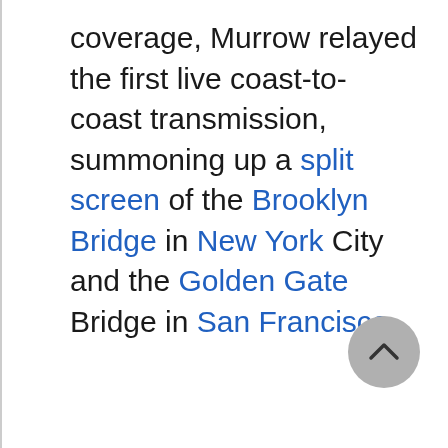coverage, Murrow relayed the first live coast-to-coast transmission, summoning up a split screen of the Brooklyn Bridge in New York City and the Golden Gate Bridge in San Francisco.
[Figure (other): A circular grey scroll-to-top button with an upward chevron arrow icon, positioned in the bottom-right area of the page.]